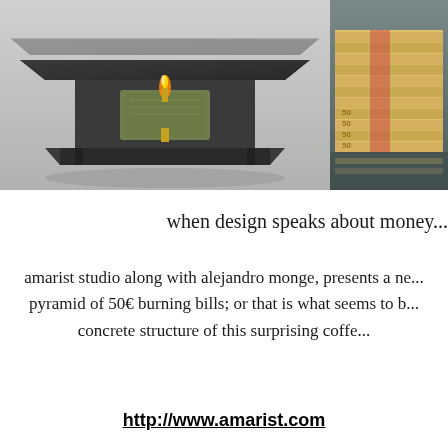[Figure (photo): Left portion: A glass-topped coffee table with what appears to be a pyramid of burning 50 euro bills visible through the glass surface, on a dark base. Right portion (partially visible): Stacks of 50 euro bills piled up.]
when design speaks about money...
amarist studio along with alejandro monge, presents a ne... pyramid of 50€ burning bills; or that is what seems to b... concrete structure of this surprising coffe...
http://www.amarist.com